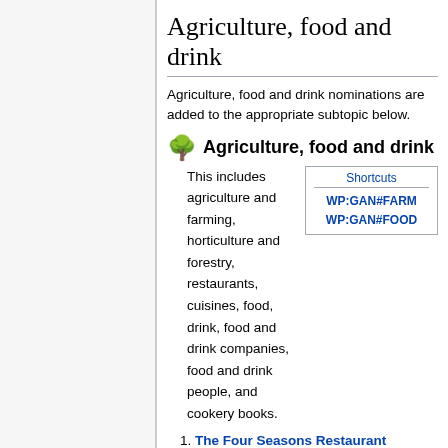Agriculture, food and drink
Agriculture, food and drink nominations are added to the appropriate subtopic below.
🌳 Agriculture, food and drink
This includes agriculture and farming, horticulture and forestry, restaurants, cuisines, food, drink, food and drink companies, food and drink people, and cookery books.
1. The Four Seasons Restaurant (edit | talk | history | protect | links | watch | logs | page views (90d)) (start review) (Reviews: 44)